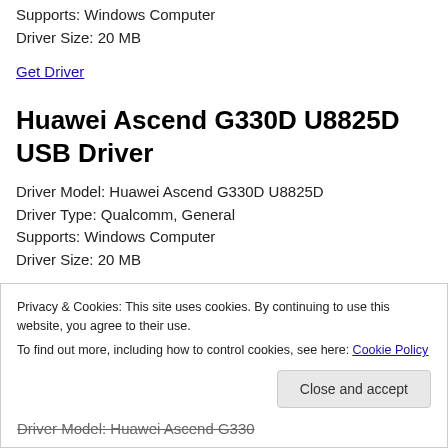Supports: Windows Computer
Driver Size: 20 MB
Get Driver
Huawei Ascend G330D U8825D USB Driver
Driver Model: Huawei Ascend G330D U8825D
Driver Type: Qualcomm, General
Supports: Windows Computer
Driver Size: 20 MB
Privacy & Cookies: This site uses cookies. By continuing to use this website, you agree to their use.
To find out more, including how to control cookies, see here: Cookie Policy
Close and accept
Driver Model: Huawei Ascend G330